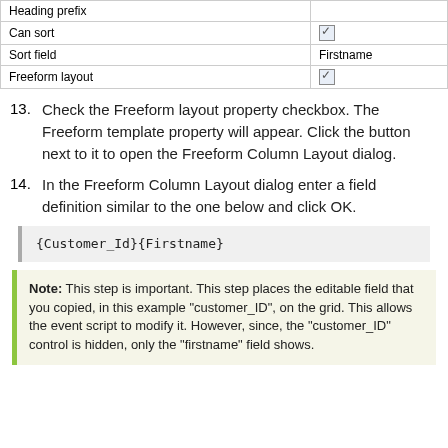|  |  |
| --- | --- |
| Heading prefix |  |
| Can sort | ☑ |
| Sort field | Firstname |
| Freeform layout | ☑ |
13. Check the Freeform layout property checkbox. The Freeform template property will appear. Click the button next to it to open the Freeform Column Layout dialog.
14. In the Freeform Column Layout dialog enter a field definition similar to the one below and click OK.
{Customer_Id}{Firstname}
Note: This step is important. This step places the editable field that you copied, in this example "customer_ID", on the grid. This allows the event script to modify it. However, since, the "customer_ID" control is hidden, only the "firstname" field shows.